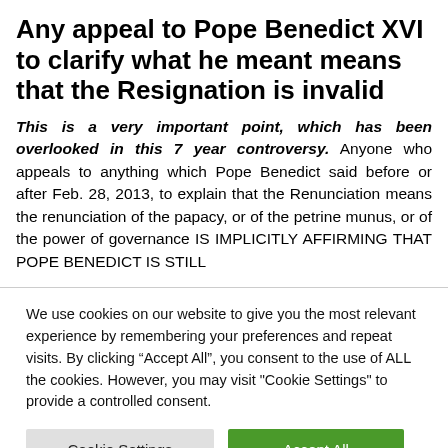Any appeal to Pope Benedict XVI to clarify what he meant means that the Resignation is invalid
This is a very important point, which has been overlooked in this 7 year controversy. Anyone who appeals to anything which Pope Benedict said before or after Feb. 28, 2013, to explain that the Renunciation means the renunciation of the papacy, or of the petrine munus, or of the power of governance IS IMPLICITLY AFFIRMING THAT POPE BENEDICT IS STILL
We use cookies on our website to give you the most relevant experience by remembering your preferences and repeat visits. By clicking “Accept All”, you consent to the use of ALL the cookies. However, you may visit "Cookie Settings" to provide a controlled consent.